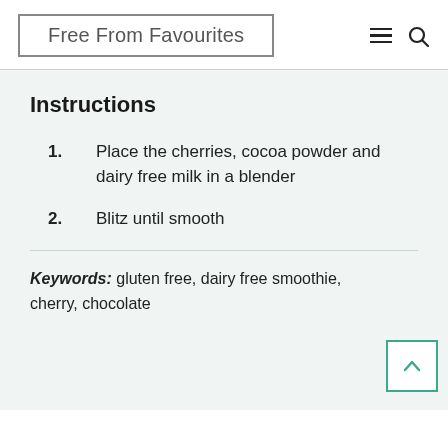Free From Favourites
Instructions
1. Place the cherries, cocoa powder and dairy free milk in a blender
2. Blitz until smooth
Keywords: gluten free, dairy free smoothie, cherry, chocolate